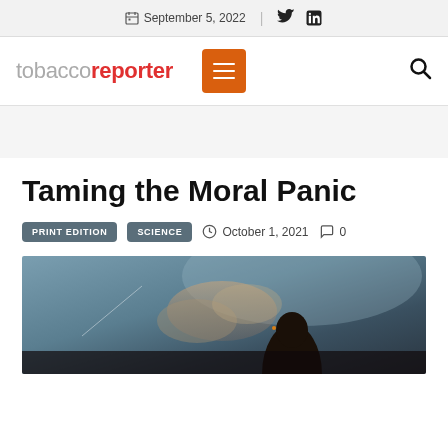September 5, 2022
[Figure (logo): Tobacco Reporter logo with hamburger menu and search icon]
Taming the Moral Panic
PRINT EDITION  SCIENCE  October 1, 2021  0
[Figure (photo): Silhouette of a person smoking against a hazy sky background]